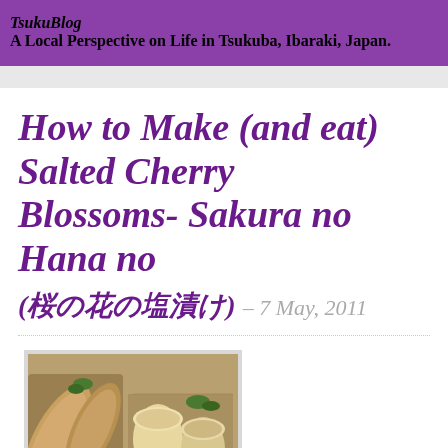TsukuBlog
A Local Perspective on Life in Tsukuba, Ibaraki, Japan.
How to Make (and eat) Salted Cherry Blossoms- Sakura no Hana no (桜の花の塩漬け) – 7 May, 2011
[Figure (photo): Photo of Japanese food items, likely salted cherry blossom related dishes on skewers and in small containers]